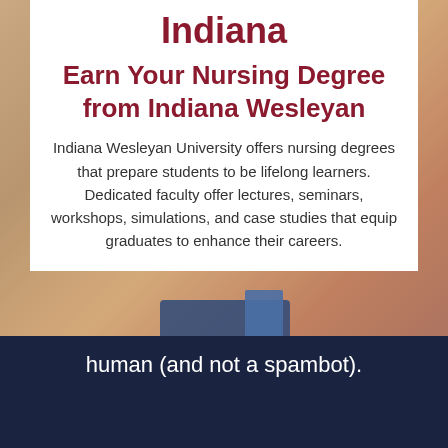[Figure (photo): Background photo of a nurse in blue scrubs holding a clipboard, with warm tones]
Indiana
Earn Your Nursing Degree from Indiana Wesleyan
Indiana Wesleyan University offers nursing degrees that prepare students to be lifelong learners. Dedicated faculty offer lectures, seminars, workshops, simulations, and case studies that equip graduates to enhance their careers.
human (and not a spambot).